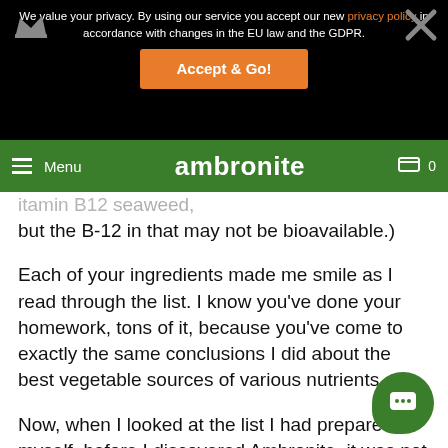We value your privacy. By using our service you accept our new privacy policy in accordance with changes in the EU law and the GDPR.
Accept & Go!
Menu  ambronite  0
itamin B12 seaweed, but the B-12 in that may not be bioavailable.)
Each of your ingredients made me smile as I read through the list. I know you've done your homework, tons of it, because you've come to exactly the same conclusions I did about the best vegetable sources of various nutrients.
Now, when I looked at the list I had prepared myself, before I discovered Ambronite, it was not something realistically possible for me to assemble. I